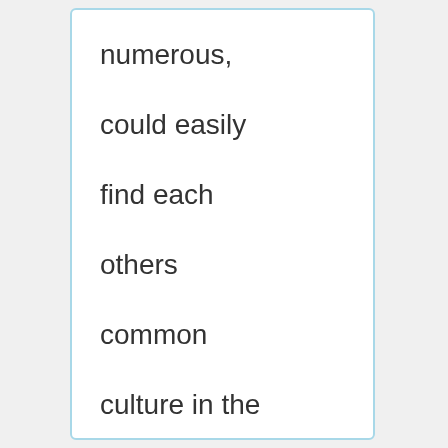numerous, could easily find each others common culture in the suburbs of New York with subsequent intermarriage?